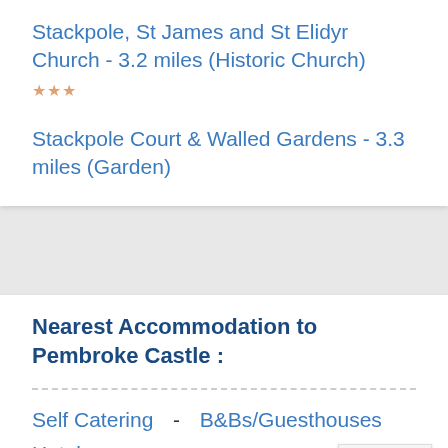Stackpole, St James and St Elidyr Church - 3.2 miles (Historic Church) ★★★
Stackpole Court & Walled Gardens - 3.3 miles (Garden)
Nearest Accommodation to Pembroke Castle :
Self Catering   -   B&Bs/Guesthouses
Hotels